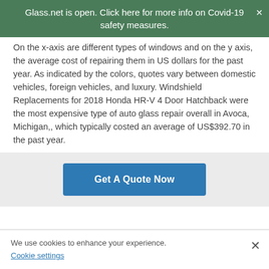Glass.net is open. Click here for more info on Covid-19 safety measures.
On the x-axis are different types of windows and on the y axis, the average cost of repairing them in US dollars for the past year. As indicated by the colors, quotes vary between domestic vehicles, foreign vehicles, and luxury. Windshield Replacements for 2018 Honda HR-V 4 Door Hatchback were the most expensive type of auto glass repair overall in Avoca, Michigan,, which typically costed an average of US$392.70 in the past year.
[Figure (other): Get A Quote Now button - a blue call-to-action button on a light grey background]
We use cookies to enhance your experience.
Cookie settings